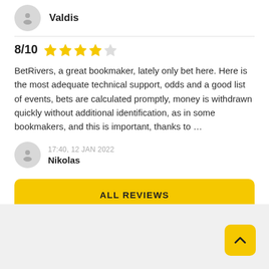Valdis
8/10 ★★★★☆
BetRivers, a great bookmaker, lately only bet here. Here is the most adequate technical support, odds and a good list of events, bets are calculated promptly, money is withdrawn quickly without additional identification, as in some bookmakers, and this is important, thanks to ...
17:40, 12 JAN 2022
Nikolas
ALL REVIEWS